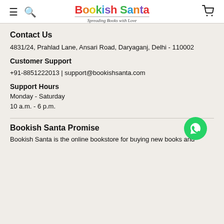Bookish Santa — Spreading Books with Love
Contact Us
4831/24, Prahlad Lane, Ansari Road, Daryaganj, Delhi - 110002
Customer Support
+91-8851222013 | support@bookishsanta.com
Support Hours
Monday - Saturday
10 a.m. - 6 p.m.
Bookish Santa Promise
Bookish Santa is the online bookstore for buying new books and